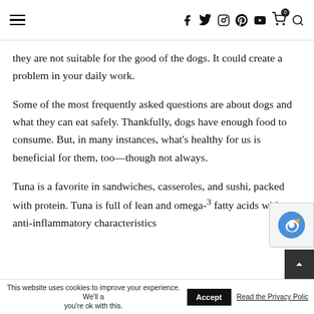[Navigation bar with hamburger menu, social icons (Facebook, Twitter, Instagram, Pinterest, YouTube), cart (0), search]
they are not suitable for the good of the dogs. It could create a problem in your daily work.
Some of the most frequently asked questions are about dogs and what they can eat safely. Thankfully, dogs have enough food to consume. But, in many instances, what’s healthy for us is beneficial for them, too—though not always.
Tuna is a favorite in sandwiches, casseroles, and sushi, packed with protein. Tuna is full of lean and omega-3 fatty acids with anti-inflammatory characteristics
This website uses cookies to improve your experience. We’ll a[ssume] you’re ok with this. Accept Read the Privacy Policy